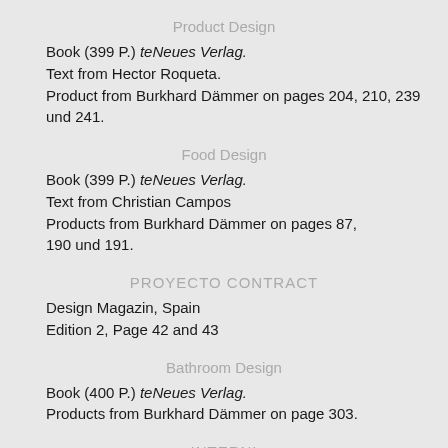Product Design
Book (399 P.) teNeues Verlag.
Text from Hector Roqueta.
Product from Burkhard Dämmer on pages 204, 210, 239 und 241.
Food Design
Book (399 P.) teNeues Verlag.
Text from Christian Campos
Products from Burkhard Dämmer on pages 87,
190 und 191.
PROYECTO CONTRACT
Design Magazin, Spain
Edition 2, Page 42 and 43
Bathroom Design
Book (400 P.) teNeues Verlag.
Products from Burkhard Dämmer on page 303.
INTERNI